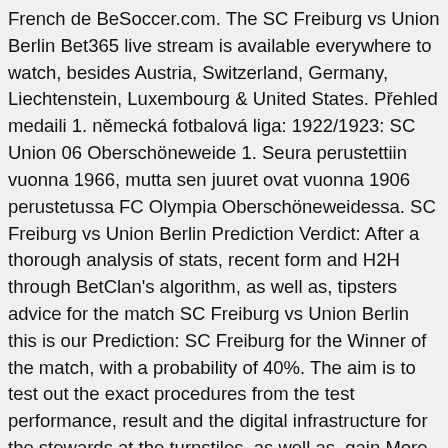French de BeSoccer.com. The SC Freiburg vs Union Berlin Bet365 live stream is available everywhere to watch, besides Austria, Switzerland, Germany, Liechtenstein, Luxembourg & United States. Přehled medaili 1. německá fotbalová liga: 1922/1923: SC Union 06 Oberschöneweide 1. Seura perustettiin vuonna 1966, mutta sen juuret ovat vuonna 1906 perustetussa FC Olympia Oberschöneweidessa. SC Freiburg vs Union Berlin Prediction Verdict: After a thorough analysis of stats, recent form and H2H through BetClan's algorithm, as well as, tipsters advice for the match SC Freiburg vs Union Berlin this is our Prediction: SC Freiburg for the Winner of the match, with a probability of 40%. The aim is to test out the exact procedures from the test performance, result and the digital infrastructure for the stewards at the turnstiles, as well as, gain More details:SC Freiburg live score, schedule and results1. FC Union Berlin live match. SC Freiburg v Union Berlin Football; Germany: Bundesliga Schwarzwald Stadion – Freiburg Saturday, 20th February 2021 - kickoff 15:30 CET SC Freiburg After beating